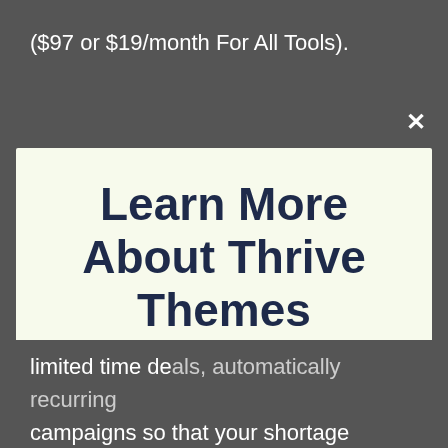($97 or $19/month For All Tools).
[Figure (screenshot): Modal popup with close button (×) in top right corner over dark gray background]
Learn More About Thrive Themes
Take Advantage Of The Craziest Offer Of The Year!
CHECK OUT THE OFFICIAL THRIVE SITE HERE
No thanks, I'm not interested!
limited time deals, automatically recurring campaigns so that your shortage campaigns happen repetitively, and they likewise use the